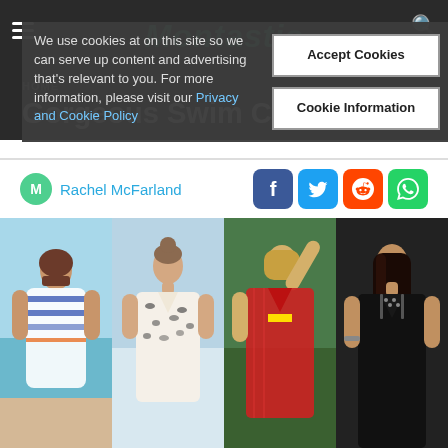Montastic
HOME
Gorgeous Swim Cover Ups
We use cookies at on this site so we can serve up content and advertising that's relevant to you. For more information, please visit our Privacy and Cookie Policy
Accept Cookies
Cookie Information
Rachel McFarland
[Figure (photo): Four women modeling swim cover ups: first in white/blue striped kaftan at beach, second in white leopard print cover up, third in red sheer cover up with yellow bikini, fourth in black beaded deep-v cover up.]